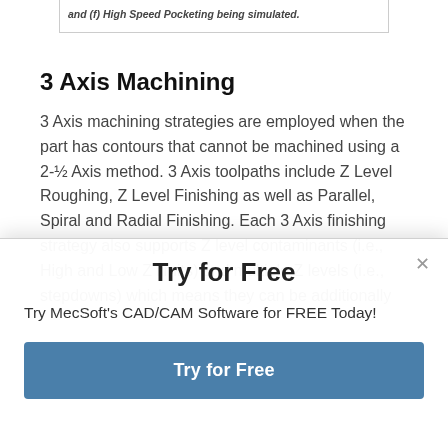and (f) High Speed Pocketing being simulated.
3 Axis Machining
3 Axis machining strategies are employed when the part has contours that cannot be machined using a 2-½ Axis method. 3 Axis toolpaths include Z Level Roughing, Z Level Finishing as well as Parallel, Spiral and Radial Finishing. Each 3 Axis finishing strategy also supports Z level contaminants (i.e., High and Low Z limits) and multiple Z levels (i.e., stepdowns) which means they can be additionally
Try MecSoft's CAD/CAM Software for FREE Today!
Try for Free
Try for Free